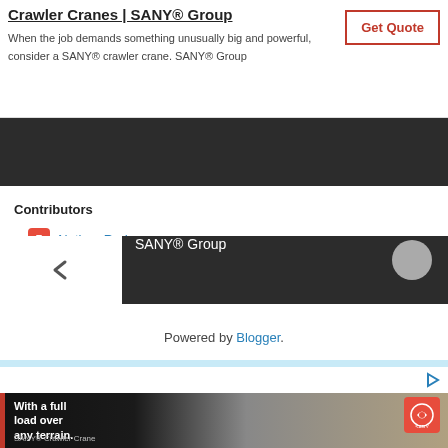[Figure (screenshot): Top advertisement banner for SANY Crawler Cranes with title, description text, and a red-bordered Get Quote button]
[Figure (screenshot): Dark banner showing SANY Group branding with chevron/back button on left and circular element on right]
Contributors
Nathan Rodgers
Russ Shelly
Powered by Blogger.
[Figure (photo): SANY crawler crane advertisement showing a red crane operating over terrain with text 'With a full load over any terrain. SANY® Crawler Crane']